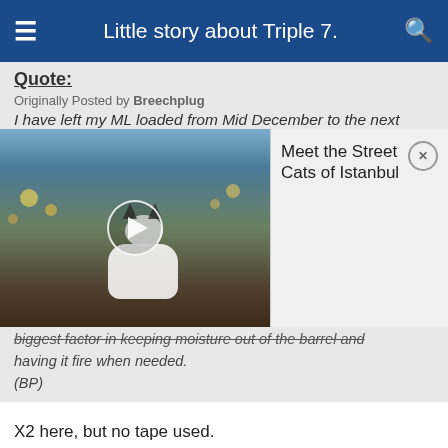Little story about Triple 7.
Quote:
Originally Posted by Breechplug
I have left my ML loaded from Mid December to the next
[Figure (screenshot): Video thumbnail showing a cat on a street, with a play button overlay. An ad card overlay reads: Meet the Street Cats of Istanbul, with a close (X) button.]
biggest factor in keeping moisture out of the barrel and having it fire when needed.
(BP)
X2 here, but no tape used.
Reply